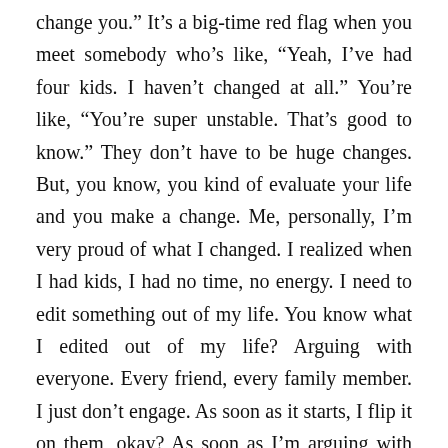change you.” It’s a big-time red flag when you meet somebody who’s like, “Yeah, I’ve had four kids. I haven’t changed at all.” You’re like, “You’re super unstable. That’s good to know.” They don’t have to be huge changes. But, you know, you kind of evaluate your life and you make a change. Me, personally, I’m very proud of what I changed. I realized when I had kids, I had no time, no energy. I need to edit something out of my life. You know what I edited out of my life? Arguing with everyone. Every friend, every family member. I just don’t engage. As soon as it starts, I flip it on them, okay? As soon as I’m arguing with somebody, and they’re like, “Yeah, I don’t really agree with you,” I go, “Yep. I’m on your side now.” They’re like, “What?” I go, “As soon as you make I